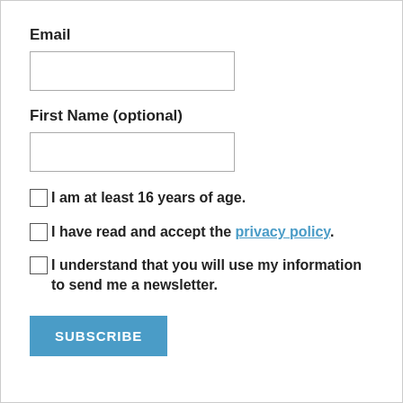Email
[Figure (other): Empty text input field for Email]
First Name (optional)
[Figure (other): Empty text input field for First Name]
I am at least 16 years of age.
I have read and accept the privacy policy.
I understand that you will use my information to send me a newsletter.
SUBSCRIBE